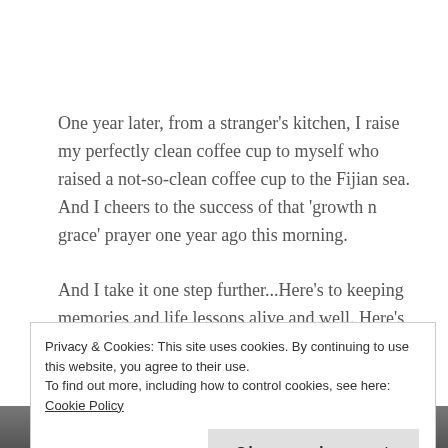One year later, from a stranger's kitchen, I raise my perfectly clean coffee cup to myself who raised a not-so-clean coffee cup to the Fijian sea. And I cheers to the success of that 'growth n grace' prayer one year ago this morning.
And I take it one step further...Here's to keeping memories and life lessons alive and well. Here's to
Privacy & Cookies: This site uses cookies. By continuing to use this website, you agree to their use.
To find out more, including how to control cookies, see here: Cookie Policy
[Figure (photo): Partial photo strip visible at the bottom of the page]